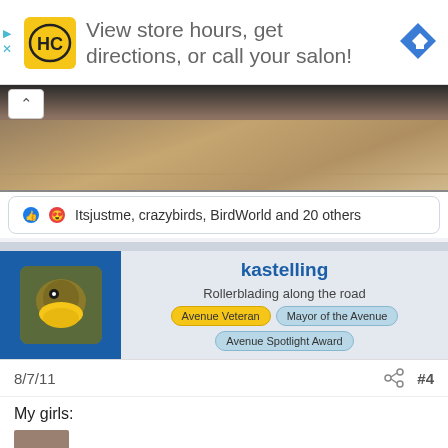[Figure (infographic): Advertisement banner: HC logo (yellow), text 'View store hours, get directions, or call your salon!', blue navigation arrow icon, play/close controls on left]
[Figure (photo): Blurred photo of wooden floor with glass/window reflection, partial dark animal silhouette at top]
Itsjustme, crazybirds, BirdWorld and 20 others
kastelling
Rollerblading along the road
Avenue Veteran
Mayor of the Avenue
Avenue Spotlight Award
8/7/11
#4
My girls: